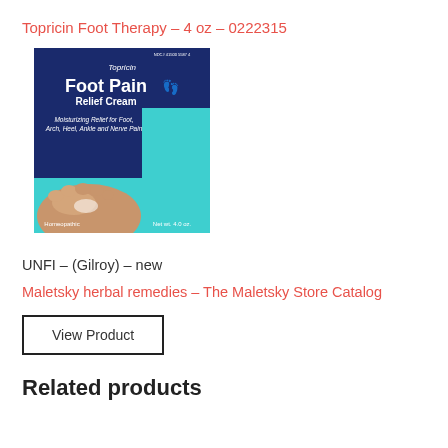Topricin Foot Therapy – 4 oz – 0222315
[Figure (photo): Product box of Topricin Foot Pain Relief Cream, 4 oz, homeopathic, with image of feet being treated]
UNFI – (Gilroy) – new
Maletsky herbal remedies – The Maletsky Store Catalog
View Product
Related products